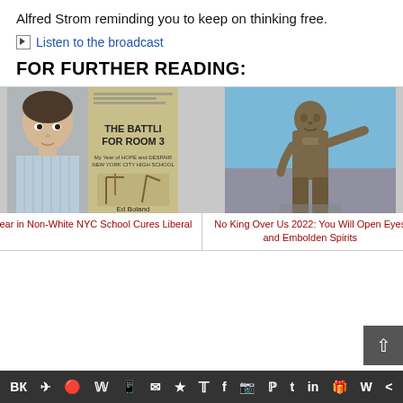Alfred Strom reminding you to keep on thinking free.
Listen to the broadcast
FOR FURTHER READING:
[Figure (illustration): Two book/article thumbnails side by side. Left: photo of a man and a book cover titled 'The Battle for Room 3' by Ed Boland. Right: a bronze statue of a man with arm extended against a blue sky.]
Year in Non-White NYC School Cures Liberal
No King Over Us 2022: You Will Open Eyes and Embolden Spirits
Social media share icons bar